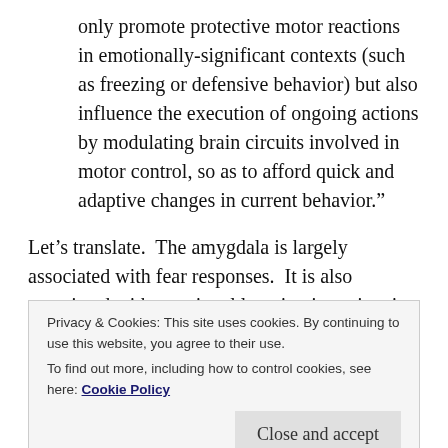only promote protective motor reactions in emotionally-significant contexts (such as freezing or defensive behavior) but also influence the execution of ongoing actions by modulating brain circuits involved in motor control, so as to afford quick and adaptive changes in current behavior.”
Let’s translate.  The amygdala is largely associated with fear responses.  It is also associated with emotional learning in registering reward and punishment.  The study quoted above brought on fear responses in their participants by showing them fearful faces while they were performing motor
Privacy & Cookies: This site uses cookies. By continuing to use this website, you agree to their use.
To find out more, including how to control cookies, see here: Cookie Policy
amygdala were activated it not only promoted certain